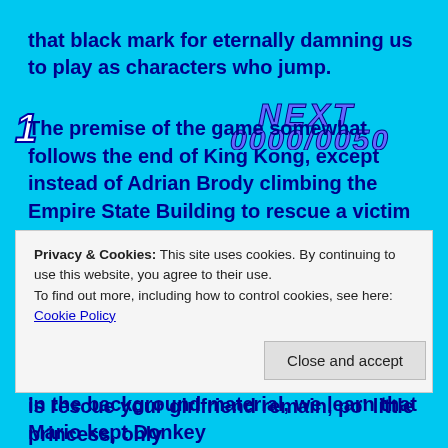that black mark for eternally damning us to play as characters who jump.
[Figure (screenshot): Game HUD overlay showing '1' on the left and 'NEXT' with score '0000/0050' on the right, in blue pixel font on cyan background]
The premise of the game somewhat follows the end of King Kong, except instead of Adrian Brody climbing the Empire State Building to rescue a victim of Stockholm syndrome with absolutely no interest in him, we have a fat carpenter with the inexplicable ability to leap over Winnebagos. Unless, of course, he has a hammer with him. Then he plants himself firmly on the ground. In the background material, we learn that Mario kept Donkey
Privacy & Cookies: This site uses cookies. By continuing to use this website, you agree to their use.
To find out more, including how to control cookies, see here: Cookie Policy
is rescue your girlfriend remain, po' little princess, only